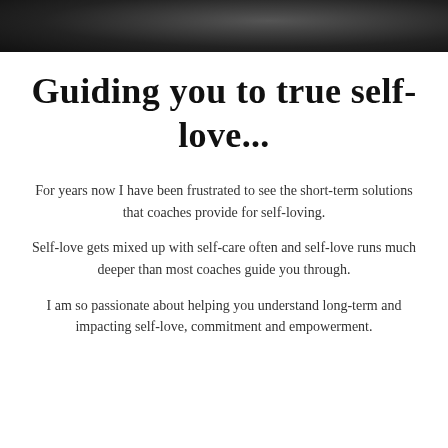[Figure (photo): Black and white photo strip at top of page, showing a partial close-up of a person's face or hair against a dark textured background]
Guiding you to true self-love...
For years now I have been frustrated to see the short-term solutions that coaches provide for self-loving.
Self-love gets mixed up with self-care often and self-love runs much deeper than most coaches guide you through.
I am so passionate about helping you understand long-term and impacting self-love, commitment and empowerment.